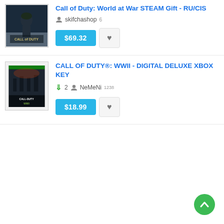Call of Duty: World at War STEAM Gift - RU/CIS
skifchashop 6
$69.32
CALL OF DUTY®: WWII - DIGITAL DELUXE XBOX KEY
2  NeMeNi 1238
$18.99